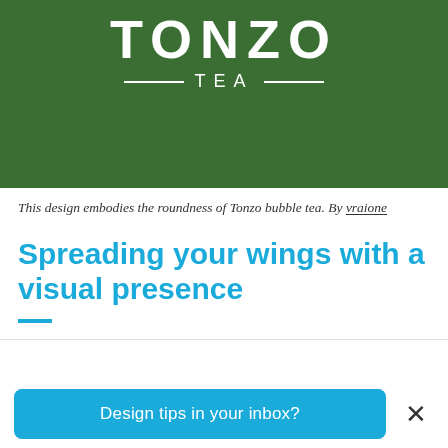[Figure (logo): Tonzo Tea logo on dark green background. Large bold white text 'TONZO' with decorative lines and 'TEA' below.]
This design embodies the roundness of Tonzo bubble tea. By vraione
Spreading your wings with a visual presence
Design tips in your inbox?